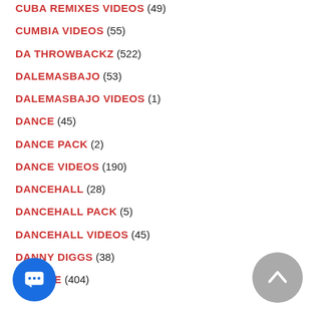CUBA REMIXES VIDEOS (49)
CUMBIA VIDEOS (55)
DA THROWBACKZ (522)
DALEMASBAJO (53)
DALEMASBAJO VIDEOS (1)
DANCE (45)
DANCE PACK (2)
DANCE VIDEOS (190)
DANCEHALL (28)
DANCEHALL PACK (5)
DANCEHALL VIDEOS (45)
DANNY DIGGS (38)
DAZONE (404)
HOUSE PACK (82)
DEMBOW VIDEOS (32)